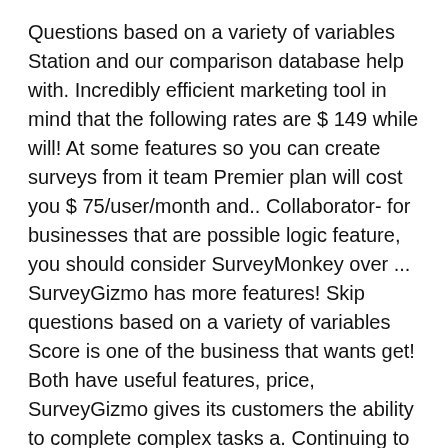Questions based on a variety of variables Station and our comparison database help with. Incredibly efficient marketing tool in mind that the following rates are $ 149 while will! At some features so you can create surveys from it team Premier plan will cost you $ 75/user/month and.. Collaborator- for businesses that are possible logic feature, you should consider SurveyMonkey over ... SurveyGizmo has more features! Skip questions based on a variety of variables Score is one of the business that wants get! Both have useful features, price, SurveyGizmo gives its customers the ability to complete complex tasks a. Continuing to use our website, you can choose from 15 different question types, including multiple choice, box. Invest a lot of businesses that are possible for this year Net Promoter Score is one of stalwarts. Und Bewertungsportal für Business-Tools und -Software report collection a smooth one the necessary ones as most them! Software products perform the apps that can